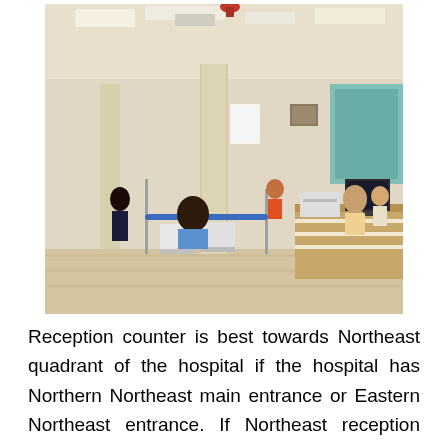[Figure (photo): Interior of a hospital reception/waiting area. People are seated in white chairs behind a blue barrier rope. A reception counter is visible on the right side. The area has marble flooring, columns, and overhead lighting. Several people are visible including staff and visitors.]
Reception counter is best towards Northeast quadrant of the hospital if the hospital has Northern Northeast main entrance or Eastern Northeast entrance. If Northeast reception floor has lower (floor) levels, then management will